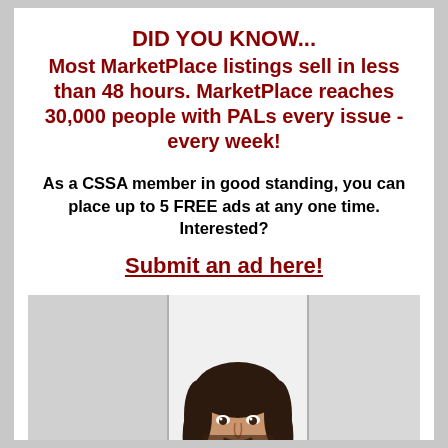DID YOU KNOW... Most MarketPlace listings sell in less than 48 hours. MarketPlace reaches 30,000 people with PALs every issue - every week!
As a CSSA member in good standing, you can place up to 5 FREE ads at any one time. Interested?
Submit an ad here!
[Figure (photo): A smiling man with shoulder-length dark hair and a beard, wearing dark attire, photographed against a light background.]